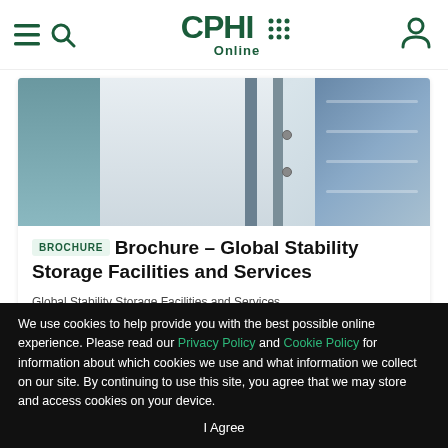CPHI Online
[Figure (photo): Stability storage cabinet/unit — left panel shows white cabinet with metal screws, right panel shows blue shelving unit]
BROCHURE  Brochure – Global Stability Storage Facilities and Services
Global Stability Storage Facilities and Services.
[Figure (photo): Partial card: yellow panel on left, blue gradient panel with 'Intertek' text in yellow italic, dark panel on right]
We use cookies to help provide you with the best possible online experience. Please read our Privacy Policy and Cookie Policy for information about which cookies we use and what information we collect on our site. By continuing to use this site, you agree that we may store and access cookies on your device.
I Agree